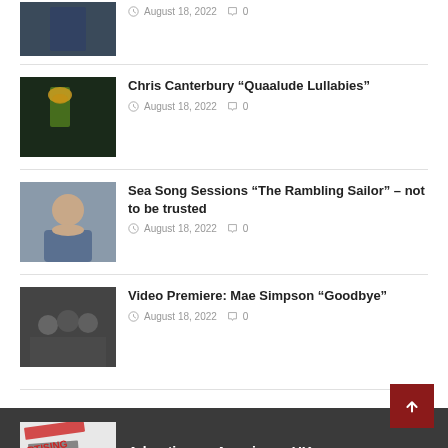August 18, 2022  0
[Figure (photo): Person in dark clothing against blue wall]
Chris Canterbury “Quaalude Lullabies”
August 18, 2022  0
[Figure (photo): Dark green background with yellow flower/plant]
Sea Song Sessions “The Rambling Sailor” – not to be trusted
August 18, 2022  0
[Figure (photo): Portrait of man resting chin on hand]
Video Premiere: Mae Simpson “Goodbye”
August 18, 2022  0
[Figure (photo): Black and white group photo]
[Figure (photo): Advertising/newspaper collage thumbnail]
Advertise on Americana UK